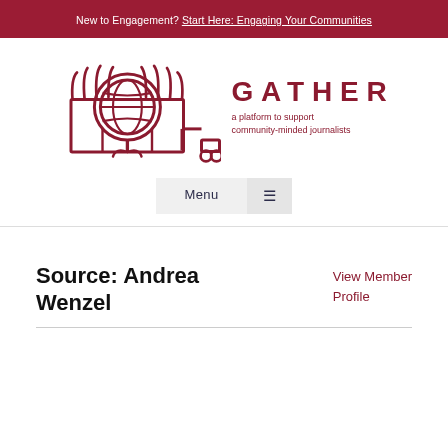New to Engagement? Start Here: Engaging Your Communities
[Figure (logo): GATHER logo: hands holding a globe with a plant/flower, line art in dark red. Text: GATHER, a platform to support community-minded journalists]
Menu ☰
Source: Andrea Wenzel
View Member Profile